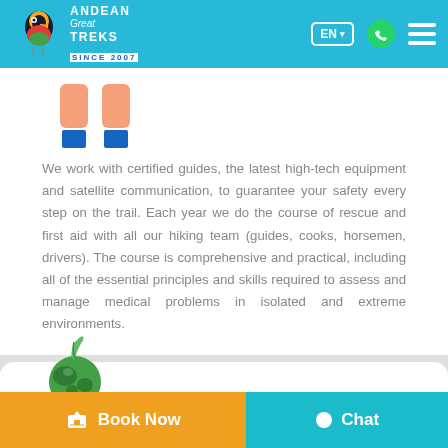Andean Great Treks SINCE 2007 — EN navigation header
[Figure (logo): Hands-holding icon with two blue rectangles below, part of Andean Great Treks safety section]
We work with certified guides, the latest high-tech equipment and satellite communication, to guarantee your safety every step on the trail. Each year we do the course of rescue and first aid with all our hiking team (guides, cooks, horsemen, drivers). The course is comprehensive and practical, including all of the essential principles and skills required to assess and manage medical problems in isolated and extreme environments.
[Figure (logo): Green earth/globe with leaf icon, beginning of environmental responsibility section]
Book Now   Chat